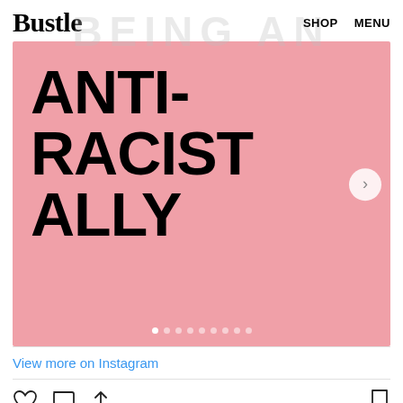Bustle  SHOP  MENU
[Figure (screenshot): Instagram embed on Bustle showing a pink slide with bold black text reading ANTI-RACIST ALLY, with navigation dots and a next arrow button]
View more on Instagram
71,612 likes
officialmillennialblack